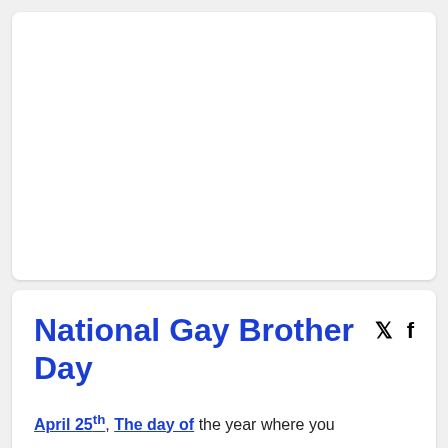[Figure (other): White card area, blank/empty image placeholder at the top of the page]
National Gay Brother Day
April 25th, The day of the year where you